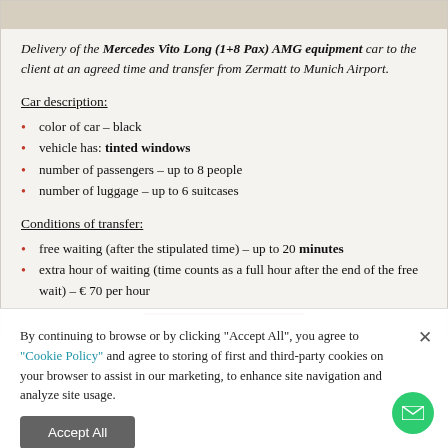[Figure (map): Partial map strip at top of page]
Delivery of the Mercedes Vito Long (1+8 Pax) AMG equipment car to the client at an agreed time and transfer from Zermatt to Munich Airport.
Car description:
color of car – black
vehicle has: tinted windows
number of passengers – up to 8 people
number of luggage – up to 6 suitcases
Conditions of transfer:
free waiting (after the stipulated time) – up to 20 minutes
extra hour of waiting (time counts as a full hour after the end of the free wait) – € 70 per hour
By continuing to browse or by clicking "Accept All", you agree to "Cookie Policy" and agree to storing of first and third-party cookies on your browser to assist in our marketing, to enhance site navigation and analyze site usage.